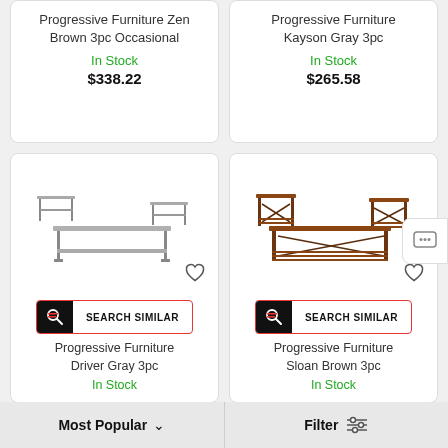Progressive Furniture Zen Brown 3pc Occasional
In Stock
$338.22
Progressive Furniture Kayson Gray 3pc
In Stock
$265.58
[Figure (photo): Gray/brown 3-piece occasional furniture set: coffee table with shelf and two end tables]
SEARCH SIMILAR
Progressive Furniture Driver Gray 3pc
In Stock
[Figure (photo): Brown 3-piece occasional furniture set: coffee table with slatted shelf and two end tables with X-pattern sides]
SEARCH SIMILAR
Progressive Furniture Sloan Brown 3pc
In Stock
Most Popular
Filter